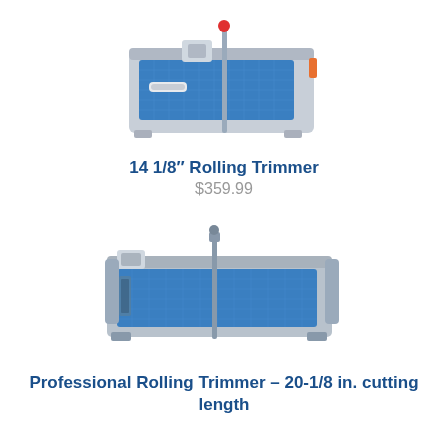[Figure (photo): Photo of a 14 1/8 inch rolling paper trimmer with blue cutting mat and grey/silver base, viewed from slight angle above]
14 1/8″ Rolling Trimmer
$359.99
[Figure (photo): Photo of a professional rolling paper trimmer with blue cutting mat, wider and longer than the first, viewed from slight angle above]
Professional Rolling Trimmer – 20-1/8 in. cutting length